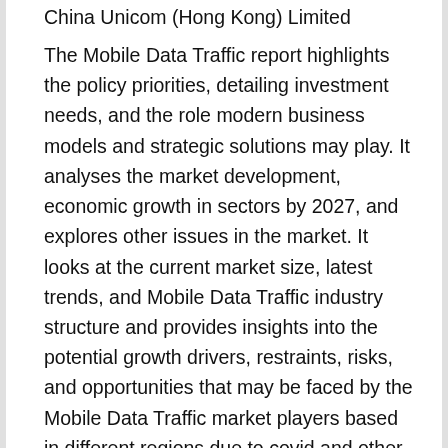China Unicom (Hong Kong) Limited
The Mobile Data Traffic report highlights the policy priorities, detailing investment needs, and the role modern business models and strategic solutions may play. It analyses the market development, economic growth in sectors by 2027, and explores other issues in the market. It looks at the current market size, latest trends, and Mobile Data Traffic industry structure and provides insights into the potential growth drivers, restraints, risks, and opportunities that may be faced by the Mobile Data Traffic market players based in different regions due to covid and other economic disruptions. It presents current and future growth opportunities. This report highlights recent Mobile Data Traffic market